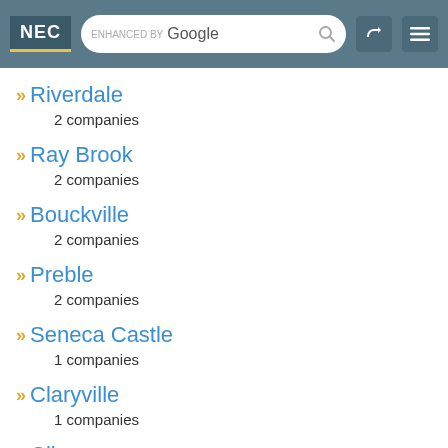NEC | ENHANCED BY Google
Riverdale
2 companies
Ray Brook
2 companies
Bouckville
2 companies
Preble
2 companies
Seneca Castle
1 companies
Claryville
1 companies
Climax